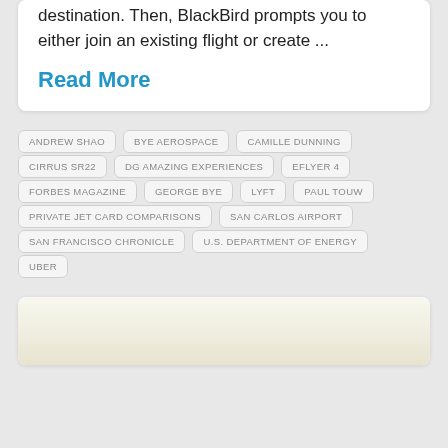destination. Then, BlackBird prompts you to either join an existing flight or create ...
Read More
ANDREW SHAO
BYE AEROSPACE
CAMILLE DUNNING
CIRRUS SR22
DG AMAZING EXPERIENCES
EFLYER 4
FORBES MAGAZINE
GEORGE BYE
LYFT
PAUL TOUW
PRIVATE JET CARD COMPARISONS
SAN CARLOS AIRPORT
SAN FRANCISCO CHRONICLE
U.S. DEPARTMENT OF ENERGY
UBER
[Figure (photo): Bottom card with light background, partially visible image of a scene]